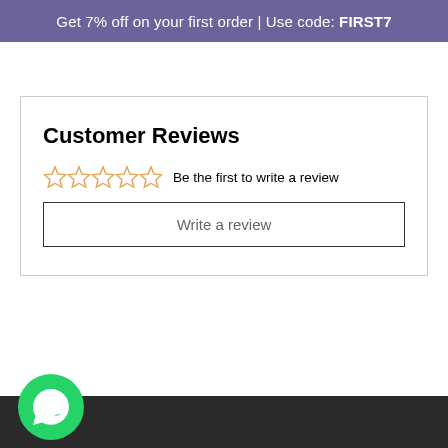Get 7% off on your first order | Use code: FIRST7
Customer Reviews
[Figure (other): Five empty star rating icons in orange/yellow outline]
Be the first to write a review
Write a review
[Figure (other): WhatsApp green circular icon with phone handset logo]